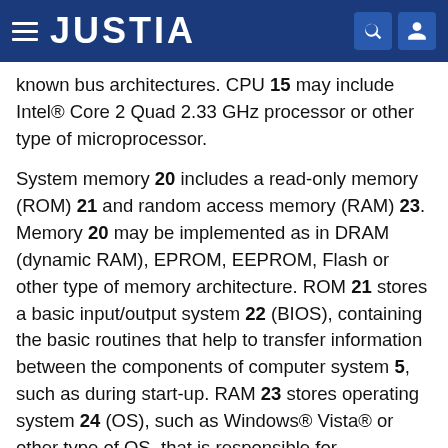JUSTIA
known bus architectures. CPU 15 may include Intel® Core 2 Quad 2.33 GHz processor or other type of microprocessor.
System memory 20 includes a read-only memory (ROM) 21 and random access memory (RAM) 23. Memory 20 may be implemented as in DRAM (dynamic RAM), EPROM, EEPROM, Flash or other type of memory architecture. ROM 21 stores a basic input/output system 22 (BIOS), containing the basic routines that help to transfer information between the components of computer system 5, such as during start-up. RAM 23 stores operating system 24 (OS), such as Windows® Vista® or other type of OS, that is responsible for management and coordination of processes and allocation and sharing of hardware resources in computer system 5. System memory 20 also stores